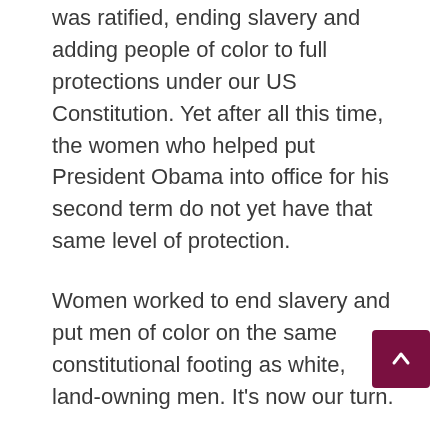was ratified, ending slavery and adding people of color to full protections under our US Constitution. Yet after all this time, the women who helped put President Obama into office for his second term do not yet have that same level of protection.
Women worked to end slavery and put men of color on the same constitutional footing as white, land-owning men. It's now our turn.
I have been working with an amazing online group of women and men dedicated to equality for all. Our current effort is to gain 25,000 signatures on a White House ERA petition by February 10, 2012. There are now three weeks left before this deadline is reached; so far, we have gathered over one